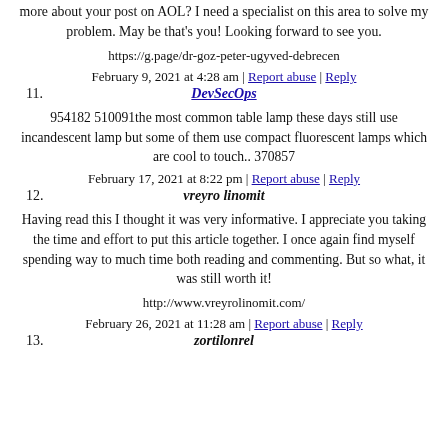more about your post on AOL? I need a specialist on this area to solve my problem. May be that's you! Looking forward to see you.
https://g.page/dr-goz-peter-ugyved-debrecen
February 9, 2021 at 4:28 am | Report abuse | Reply
11. DevSecOps
954182 510091the most common table lamp these days still use incandescent lamp but some of them use compact fluorescent lamps which are cool to touch.. 370857
February 17, 2021 at 8:22 pm | Report abuse | Reply
12. vreyro linomit
Having read this I thought it was very informative. I appreciate you taking the time and effort to put this article together. I once again find myself spending way to much time both reading and commenting. But so what, it was still worth it!
http://www.vreyrolinomit.com/
February 26, 2021 at 11:28 am | Report abuse | Reply
13. zortilonrel